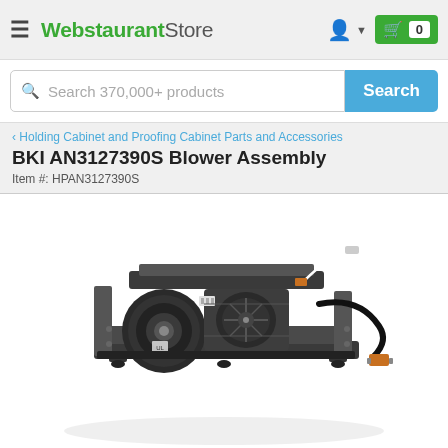WebstaurantStore
Search 370,000+ products
‹ Holding Cabinet and Proofing Cabinet Parts and Accessories
BKI AN3127390S Blower Assembly
Item #: HPAN3127390S
[Figure (photo): BKI AN3127390S Blower Assembly product photo showing a metal blower motor unit with fan housing, wiring connectors, and mounting frame on a white background]